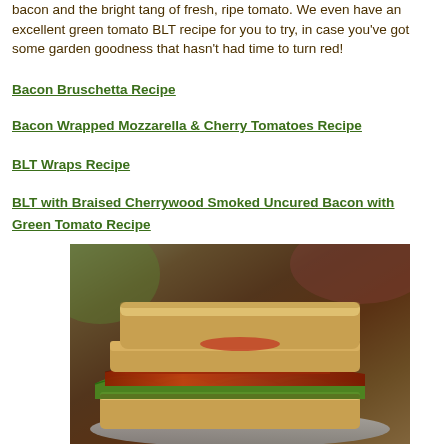bacon and the bright tang of fresh, ripe tomato. We even have an excellent green tomato BLT recipe for you to try, in case you've got some garden goodness that hasn't had time to turn red!
Bacon Bruschetta Recipe
Bacon Wrapped Mozzarella & Cherry Tomatoes Recipe
BLT Wraps Recipe
BLT with Braised Cherrywood Smoked Uncured Bacon with Green Tomato Recipe
[Figure (photo): A large stacked BLT sandwich on a plate, showing layers of toasted bread, crispy bacon, lettuce, and tomato slices, on a wooden surface with grapes in the background.]